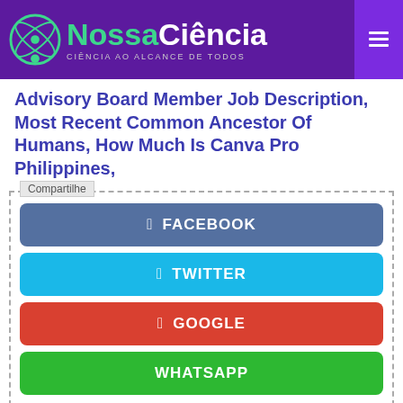NossaCiência — CIÊNCIA AO ALCANCE DE TODOS
Advisory Board Member Job Description, Most Recent Common Ancestor Of Humans, How Much Is Canva Pro Philippines,
Compartilhe
FACEBOOK
TWITTER
GOOGLE
WHATSAPP
VOLTAR